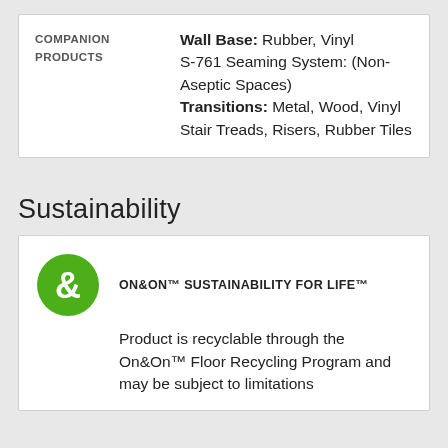|  |  |
| --- | --- |
| COMPANION PRODUCTS | Wall Base: Rubber, Vinyl
S-761 Seaming System: (Non-Aseptic Spaces)
Transitions: Metal, Wood, Vinyl Stair Treads, Risers, Rubber Tiles |
Sustainability
[Figure (logo): ON&ON green circle logo with ampersand symbol]
ON&ON™ SUSTAINABILITY FOR LIFE™
Product is recyclable through the On&On™ Floor Recycling Program and may be subject to limitations